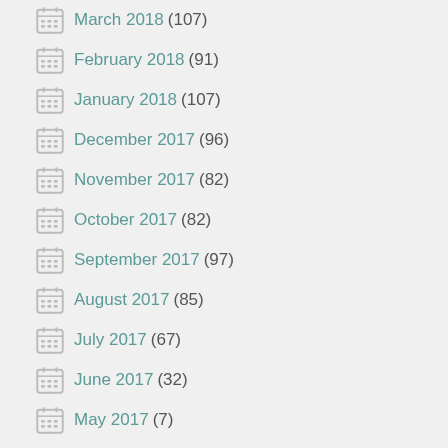March 2018 (107)
February 2018 (91)
January 2018 (107)
December 2017 (96)
November 2017 (82)
October 2017 (82)
September 2017 (97)
August 2017 (85)
July 2017 (67)
June 2017 (32)
May 2017 (7)
PICK A DATE